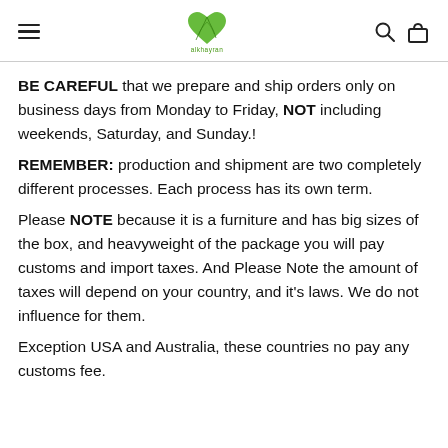Navigation header with hamburger menu, green heart-leaf logo with brand name, search and cart icons
BE CAREFUL that we prepare and ship orders only on business days from Monday to Friday, NOT including weekends, Saturday, and Sunday.!
REMEMBER: production and shipment are two completely different processes. Each process has its own term.
Please NOTE because it is a furniture and has big sizes of the box, and heavyweight of the package you will pay customs and import taxes. And Please Note the amount of taxes will depend on your country, and it's laws. We do not influence for them.
Exception USA and Australia, these countries no pay any customs fee.